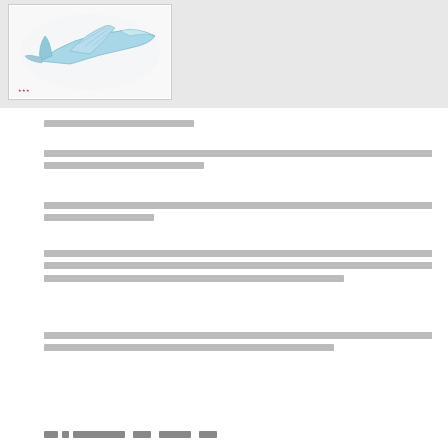[Figure (illustration): Illustration of an aircraft or plane in a light blue/teal color scheme against a white background, shown from a perspective angle. Small red text visible at bottom left of image.]
[CJK text paragraph - title/heading line]
[CJK text paragraph - two lines of body text]
[CJK text paragraph - two lines of body text]
[CJK text paragraph - three lines of body text]
[CJK text paragraph - two lines of body text]
1 1 [CJK characters]  [CJK]  [CJK chars]  [CJK]